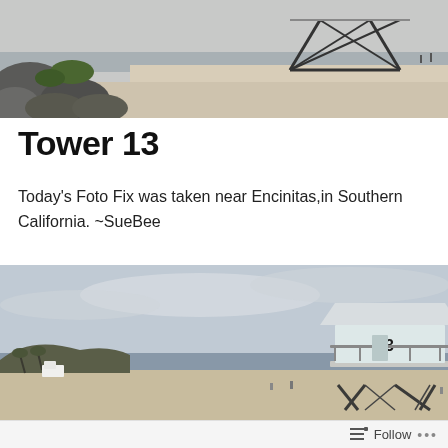[Figure (photo): Beach scene with large rocks and boulders on the left, sandy beach in the background, and a metal structure (possibly a volleyball net frame or scaffold) in the center-right. Overcast sky.]
Tower 13
Today’s Foto Fix was taken near Encinitas,in Southern California. ~SueBee
[Figure (photo): A lifeguard tower numbered 13 standing on a sandy beach near Encinitas, Southern California. The tower is white with a peaked roof and metal railings, raised on stilted legs. Cloudy sky and coastline visible in the background.]
Follow